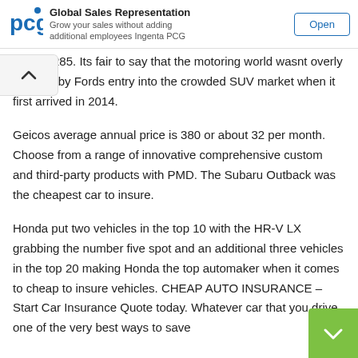[Figure (other): PCG logo and advertisement banner with 'Global Sales Representation', tagline 'Grow your sales without adding additional employees Ingenta PCG', and an 'Open' button.]
um of 1285. Its fair to say that the motoring world wasnt overly inspired by Fords entry into the crowded SUV market when it first arrived in 2014.
Geicos average annual price is 380 or about 32 per month. Choose from a range of innovative comprehensive custom and third-party products with PMD. The Subaru Outback was the cheapest car to insure.
Honda put two vehicles in the top 10 with the HR-V LX grabbing the number five spot and an additional three vehicles in the top 20 making Honda the top automaker when it comes to cheap to insure vehicles. CHEAP AUTO INSURANCE – Start Car Insurance Quote today. Whatever car that you drive one of the very best ways to save